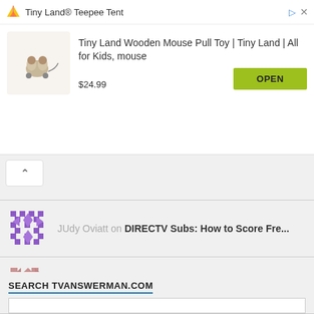[Figure (screenshot): Advertisement banner for Tiny Land Teepee Tent showing a wooden mouse pull toy at $24.99 with an OPEN button]
JUdy Oviatt on DIRECTV Subs: How to Score Fre...
CMD on Is Tonight's Marlins-Bra...
Chuckster on Peacock to Stream English Prem...
SEARCH TVANSWERMAN.COM